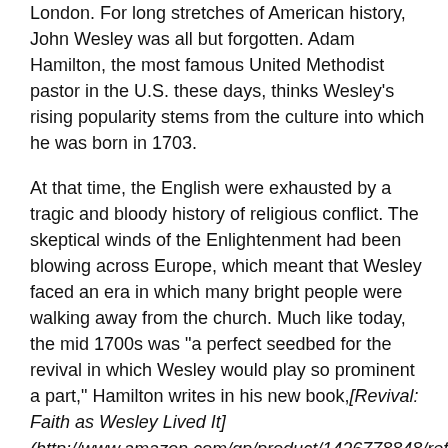London. For long stretches of American history, John Wesley was all but forgotten. Adam Hamilton, the most famous United Methodist pastor in the U.S. these days, thinks Wesley's rising popularity stems from the culture into which he was born in 1703.
At that time, the English were exhausted by a tragic and bloody history of religious conflict. The skeptical winds of the Enlightenment had been blowing across Europe, which meant that Wesley faced an era in which many bright people were walking away from the church. Much like today, the mid 1700s was "a perfect seedbed for the revival in which Wesley would play so prominent a part," Hamilton writes in his new book,[Revival: Faith as Wesley Lived It] (http://www.amazon.com/gp/product/1426778848/ref=aslitl?ie=UTF8&camp=1789&creative=9325&creativeASIN=142677820&linkId=FX6RB2W4WQO5GVMZ) .
Wesley's life parallels many religious trends today: